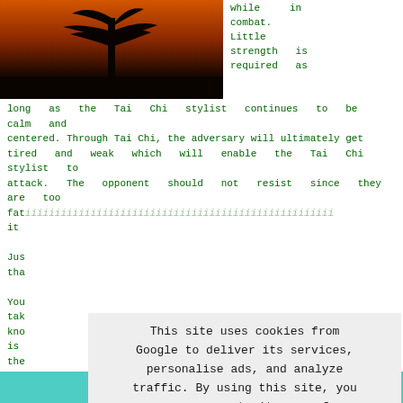[Figure (photo): Silhouette of a tree against an orange/dark sunset sky]
while in combat. Little strength is required as long as the Tai Chi stylist continues to be calm and centered. Through Tai Chi, the adversary will ultimately get tired and weak which will enable the Tai Chi stylist to attack. The opponent should not resist since they are too fat... it

Jus... tha...

You... tak... kno... is... the...
This site uses cookies from Google to deliver its services, personalise ads, and analyze traffic. By using this site, you agree to its use of cookies. Learn More   I Agree